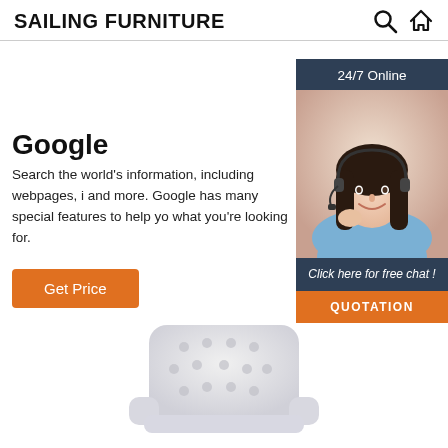SAILING FURNITURE
Google
Search the world's information, including webpages, i and more. Google has many special features to help yo what you're looking for.
Get Price
[Figure (photo): Customer service representative with headset, smiling. Sidebar widget with '24/7 Online' header, 'Click here for free chat!' text, and 'QUOTATION' button.]
[Figure (photo): Tufted light gray armchair, partially visible at bottom of page.]